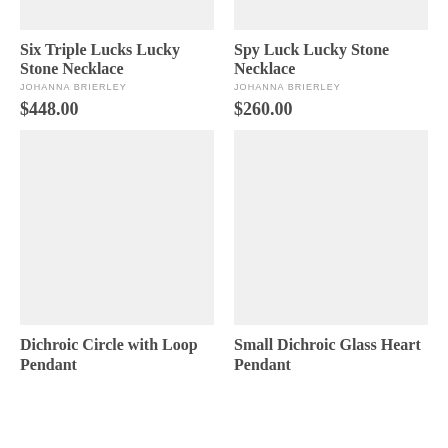[Figure (photo): Product image placeholder for Six Triple Lucks Lucky Stone Necklace]
Six Triple Lucks Lucky Stone Necklace
JOHANNA BRIERLEY
$448.00
[Figure (photo): Product image placeholder for Spy Luck Lucky Stone Necklace]
Spy Luck Lucky Stone Necklace
JOHANNA BRIERLEY
$260.00
[Figure (photo): Product image placeholder for Dichroic Circle with Loop Pendant]
Dichroic Circle with Loop Pendant
[Figure (photo): Product image placeholder for Small Dichroic Glass Heart Pendant]
Small Dichroic Glass Heart Pendant